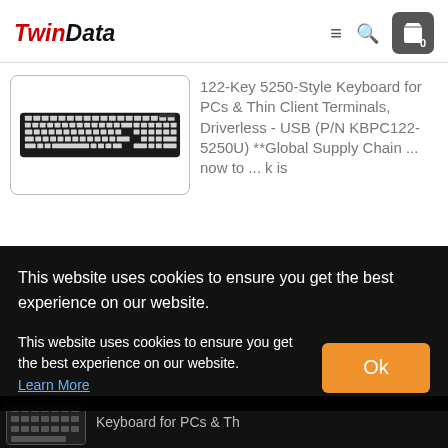[Figure (logo): TwinData logo with Twin in red italic and Data in black italic bold]
[Figure (screenshot): Navigation icons: hamburger menu, search magnifier, shopping cart with count 0]
[Figure (photo): 122-key 5250-style keyboard product image, black keyboard with grey keys]
122-Key 5250-Style Keyboard for PCs & Thin Client Terminals, Driverless - USB (P/N KBPC122-5250U) **Global Supply Chain ... now to ... k is
This website uses cookies to ensure you get the best experience on our website.
This website uses cookies to ensure you get the best experience on our website.
Learn More
[Figure (screenshot): Ok button in orange]
[Figure (photo): Bottom strip showing partial keyboard image and partial product title text]